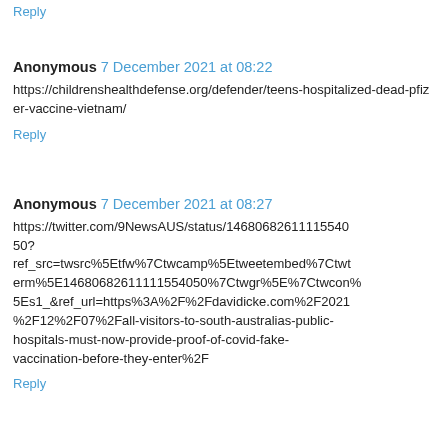Reply
Anonymous  7 December 2021 at 08:22
https://childrenshealthdefense.org/defender/teens-hospitalized-dead-pfizer-vaccine-vietnam/
Reply
Anonymous  7 December 2021 at 08:27
https://twitter.com/9NewsAUS/status/14680682611115540 50? ref_src=twsrc%5Etfw%7Ctwcamp%5Etweetembed%7Ctwterm%5E14680682611111554050%7Ctwgr%5E%7Ctwcon%5Es1_&ref_url=https%3A%2F%2Fdavidicke.com%2F2021%2F12%2F07%2Fall-visitors-to-south-australias-public-hospitals-must-now-provide-proof-of-covid-fake-vaccination-before-they-enter%2F
Reply